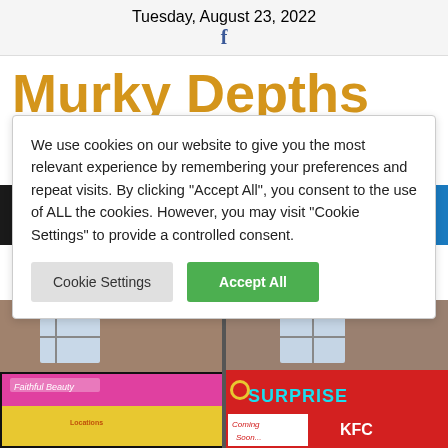Tuesday, August 23, 2022
Murky Depths
We use cookies on our website to give you the most relevant experience by remembering your preferences and repeat visits. By clicking “Accept All”, you consent to the use of ALL the cookies. However, you may visit “Cookie Settings” to provide a controlled consent.
[Figure (photo): Street-level photograph showing two UK high street shops: on the left a hair/beauty salon called Faithful Beauty with yellow signage, on the right a red shop front with SURPRISE signage and a KFC Coming Soon sign below it.]